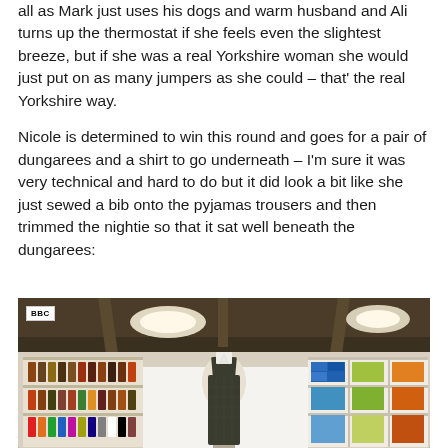all as Mark just uses his dogs and warm husband and Ali turns up the thermostat if she feels even the slightest breeze, but if she was a real Yorkshire woman she would just put on as many jumpers as she could – that' the real Yorkshire way.
Nicole is determined to win this round and goes for a pair of dungarees and a shirt to go underneath – I'm sure it was very technical and hard to do but it did look a bit like she just sewed a bib onto the pyjamas trousers and then trimmed the nightie so that it sat well beneath the dungarees:
[Figure (photo): BBC television programme screenshot showing a mannequin wearing dark checked dungarees with a white shirt underneath, displayed in what appears to be a craft/sewing studio with shelves of fabric and supplies visible in the background. A BBC watermark logo appears in the top left corner.]